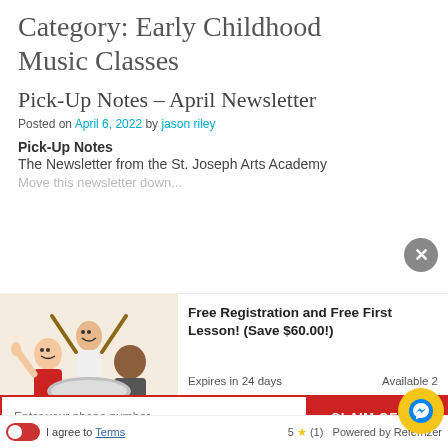Category: Early Childhood Music Classes
Pick-Up Notes – April Newsletter
Posted on April 6, 2022 by jason riley
Pick-Up Notes
The Newsletter from the St. Joseph Arts Academy
[Figure (photo): Three children happily playing drums with drumsticks raised]
Free Registration and Free First Lesson! (Save $60.00!)
Expires in 24 days   Available 2
Enter your phone number   CLAIM OFFER
I agree to Terms   5 ★ (1)  Powered by Referrizer